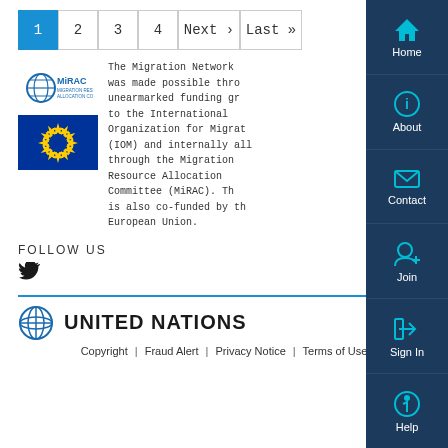1  2  3  4  Next›  Last»
[Figure (logo): MiRAC Migration Resource Allocation Committee logo and EU flag]
The Migration Network was made possible through unearmarked funding gr to the International Organization for Migrat (IOM) and internally all through the Migration Resource Allocation Committee (MiRAC). The is also co-funded by the European Union.
FOLLOW US
Twitter bird icon
[Figure (logo): United Nations globe logo with UNITED NATIONS text]
Copyright | Fraud Alert | Privacy Notice | Terms of Use
[Figure (infographic): Right sidebar navigation menu with Home, About, Contact, Join, Sign In, Help buttons in dark blue with cyan icons]